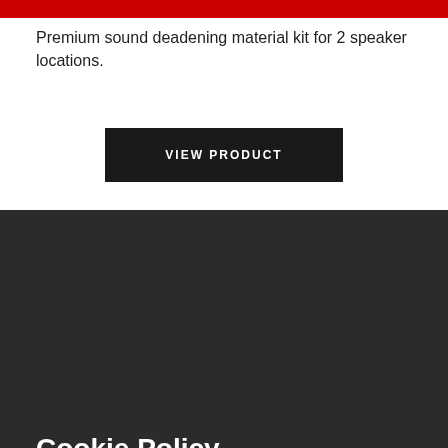Premium sound deadening material kit for 2 speaker locations.
VIEW PRODUCT
Cookie Policy
We use cookies to ensure the best experience. By continuing to use this site, you agree to our Privacy Policy.
ACCEPT
LET ME CHOOSE